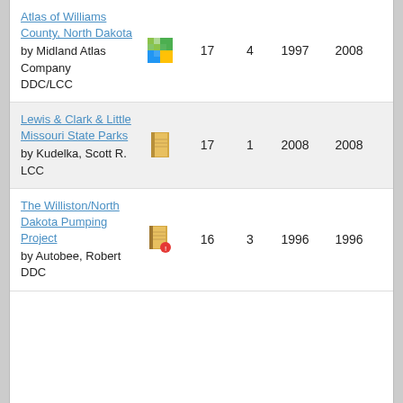| Atlas of Williams County, North Dakota
by Midland Atlas Company
DDC/LCC | [map icon] | 17 | 4 | 1997 | 2008 |
| Lewis & Clark & Little Missouri State Parks
by Kudelka, Scott R.
LCC | [book icon] | 17 | 1 | 2008 | 2008 |
| The Williston/North Dakota Pumping Project
by Autobee, Robert
DDC | [book icon] | 16 | 3 | 1996 | 1996 |